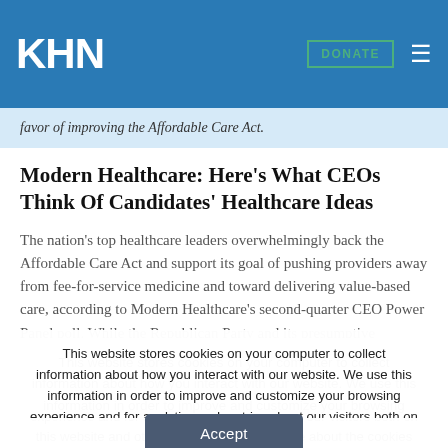KHN | DONATE
favor of improving the Affordable Care Act.
Modern Healthcare: Here's What CEOs Think Of Candidates' Healthcare Ideas
The nation's top healthcare leaders overwhelmingly back the Affordable Care Act and support its goal of pushing providers away from fee-for-service medicine and toward delivering value-based care, according to Modern Healthcare's second-quarter CEO Power Panel poll. While the Republican Party and its presumptive nominee, businessman Donald Trump,
This website stores cookies on your computer to collect information about how you interact with our website. We use this information in order to improve and customize your browsing experience and for analytics and metrics about our visitors both on this website and other media. To find out more about the cookies we use, see our Privacy Policy.
Accept